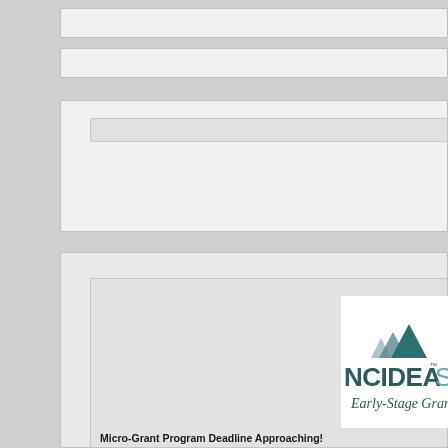[Figure (screenshot): NCIDEA SEED Early-Stage Grants logo with mountain/leaf graphic in teal and grey]
Micro-Grant Program Deadline Approaching!
Apply by Monday, May 14th at 5PM EST
Are you (or do you know) an early NC-based startup looking and advance an idea? Could $1K to $10K toward customer d prototype development or marketing activities (and more) ma